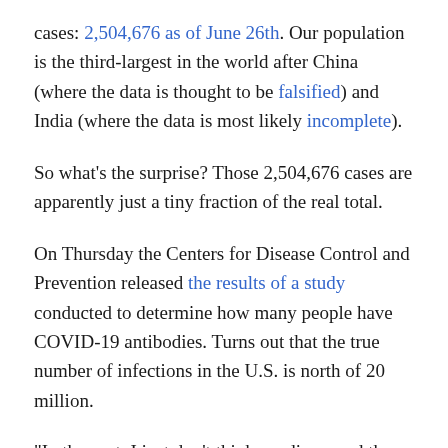cases: 2,504,676 as of June 26th. Our population is the third-largest in the world after China (where the data is thought to be falsified) and India (where the data is most likely incomplete).
So what's the surprise? Those 2,504,676 cases are apparently just a tiny fraction of the real total.
On Thursday the Centers for Disease Control and Prevention released the results of a study conducted to determine how many people have COVID-19 antibodies. Turns out that the true number of infections in the U.S. is north of 20 million.
“In the past, I just don’t think we diagnosed those infections,” said CDC director Robert Redfield in a press briefing. “Our best estimate right now is that, for every case that was reported, there were actually ten other